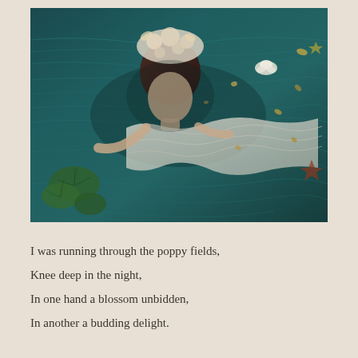[Figure (photo): Aerial view of a woman in a white floral dress lying in teal-green water surrounded by lily pads, flowers, and floating petals. The water has a deep teal color with visible ripples and reflections.]
I was running through the poppy fields,
Knee deep in the night,
In one hand a blossom unbidden,
In another a budding delight.